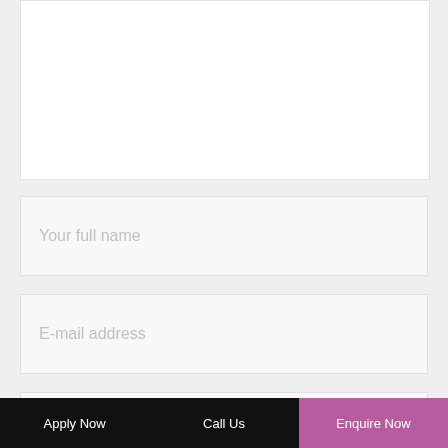[Figure (screenshot): Top portion of a white text area input box, partially visible at top of page]
Your full name
E-mail address
Website
Save my name, email, and website in this browser for the next time I comment.
Apply Now   Call Us   Enquire Now